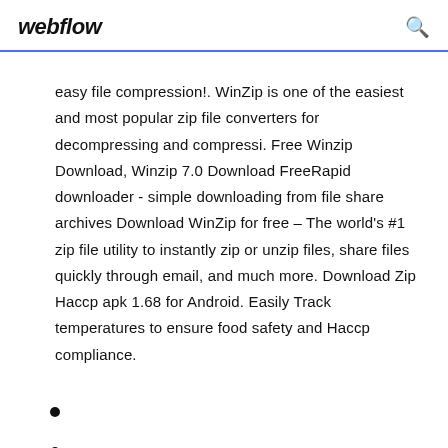webflow
easy file compression!. WinZip is one of the easiest and most popular zip file converters for decompressing and compressi. Free Winzip Download, Winzip 7.0 Download FreeRapid downloader - simple downloading from file share archives Download WinZip for free – The world's #1 zip file utility to instantly zip or unzip files, share files quickly through email, and much more. Download Zip Haccp apk 1.68 for Android. Easily Track temperatures to ensure food safety and Haccp compliance.